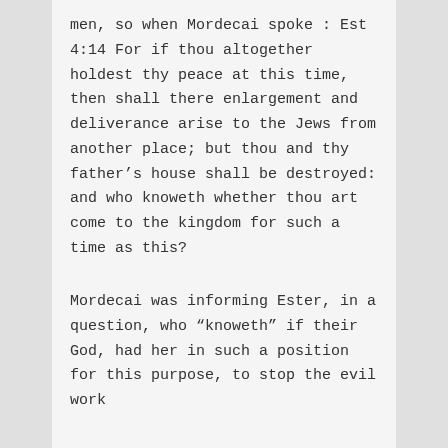men, so when Mordecai spoke : Est 4:14 For if thou altogether holdest thy peace at this time, then shall there enlargement and deliverance arise to the Jews from another place; but thou and thy father’s house shall be destroyed: and who knoweth whether thou art come to the kingdom for such a time as this?
Mordecai was informing Ester, in a question, who “knoweth” if their God, had her in such a position for this purpose, to stop the evil work